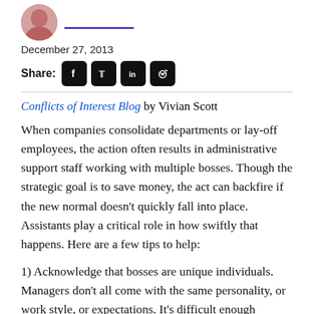[Figure (photo): Partial view of author avatar photo (cropped circle, top portion visible)]
December 27, 2013
Share: [Facebook icon] [Twitter icon] [LinkedIn icon] [Reddit icon]
Conflicts of Interest Blog by Vivian Scott
When companies consolidate departments or lay-off employees, the action often results in administrative support staff working with multiple bosses. Though the strategic goal is to save money, the act can backfire if the new normal doesn't quickly fall into place. Assistants play a critical role in how swiftly that happens. Here are a few tips to help:
1) Acknowledge that bosses are unique individuals. Managers don't all come with the same personality, or work style, or expectations. It's difficult enough